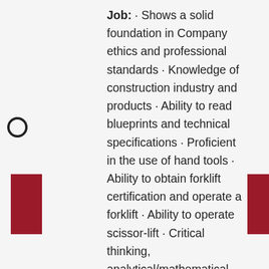Job: · Shows a solid foundation in Company ethics and professional standards · Knowledge of construction industry and products · Ability to read blueprints and technical specifications · Proficient in the use of hand tools · Ability to obtain forklift certification and operate a forklift · Ability to operate scissor-lift · Critical thinking, analytical/mathematical, and mechanical skills · Strong communication and customer service skills · Ability to manage multiple projects with effective time management skills · Strong attention to detail · Technical /computer skills including knowledge of Microsoft Office and other applications used by the Company (i.e., time-keeping, etc.) ·
DO
GA
GA
EN
ST
PA
SL
SL
DE